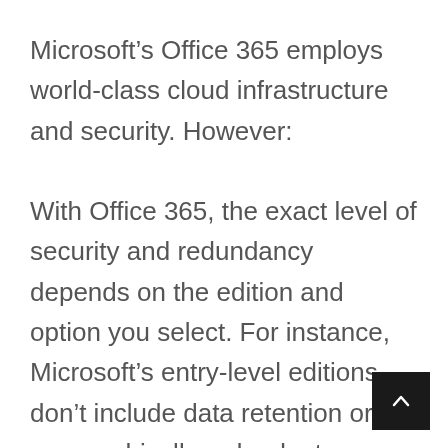Microsoft’s Office 365 employs world-class cloud infrastructure and security. However:

With Office 365, the exact level of security and redundancy depends on the edition and option you select. For instance, Microsoft’s entry-level editions don’t include data retention or geographically redundant backups. Consult with your IT or Cloud provider to ensure you’ve selected the right options